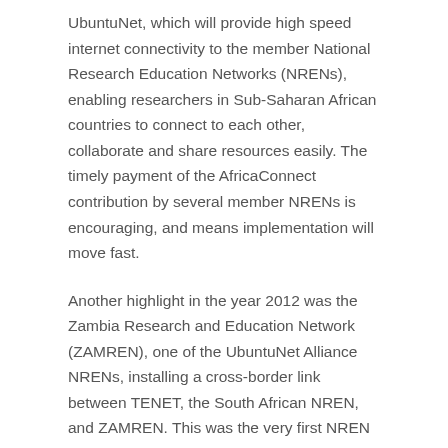UbuntuNet, which will provide high speed internet connectivity to the member National Research Education Networks (NRENs), enabling researchers in Sub-Saharan African countries to connect to each other, collaborate and share resources easily. The timely payment of the AfricaConnect contribution by several member NRENs is encouraging, and means implementation will move fast.
Another highlight in the year 2012 was the Zambia Research and Education Network (ZAMREN), one of the UbuntuNet Alliance NRENs, installing a cross-border link between TENET, the South African NREN, and ZAMREN. This was the very first NREN cross-border link within Africa.
These achievements would not have been possible if it were not for the assistance, advice and guidance that organizations, governments, individuals, NRENs, , gave to the UbuntuNet Alliance during the year.